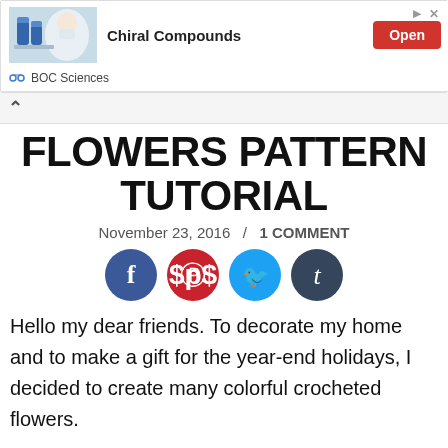[Figure (other): Advertisement banner for BOC Sciences Chiral Compounds with a lab photo, Open button, and BOC Sciences logo]
FLOWERS PATTERN TUTORIAL
November 23, 2016  /  1 COMMENT
[Figure (infographic): Social media share icons: Facebook (blue circle f), Pinterest (red circle p), Twitter (light blue circle bird), Tumblr (dark blue circle t)]
Hello my dear friends. To decorate my home and to make a gift for the year-end holidays, I decided to create many colorful crocheted flowers.